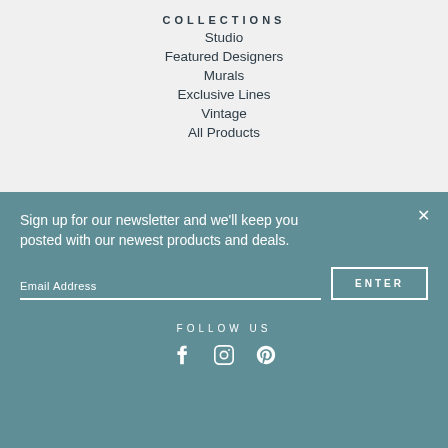COLLECTIONS
Studio
Featured Designers
Murals
Exclusive Lines
Vintage
All Products
Sign up for our newsletter and we'll keep you posted with our newest products and deals.
Email Address
ENTER
FOLLOW US
[Figure (illustration): Social media icons: Facebook, Instagram, Pinterest]